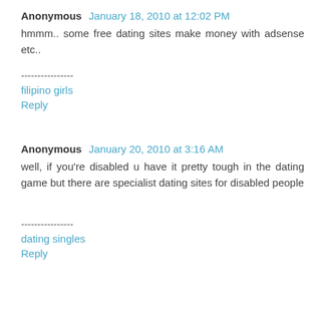Anonymous  January 18, 2010 at 12:02 PM
hmmm.. some free dating sites make money with adsense etc..
----------------
filipino girls
Reply
Anonymous  January 20, 2010 at 3:16 AM
well, if you're disabled u have it pretty tough in the dating game but there are specialist dating sites for disabled people
----------------
dating singles
Reply